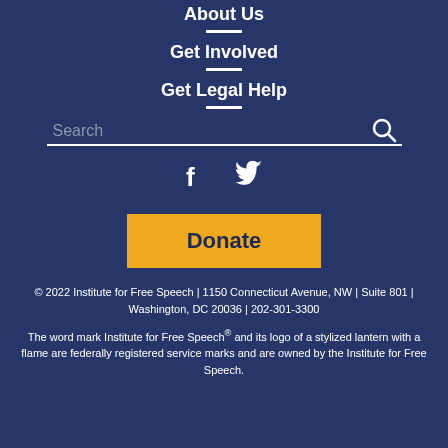About Us
Get Involved
Get Legal Help
[Figure (other): Search bar with search icon on dark navy background]
[Figure (other): Social media icons: Facebook (f) and Twitter (bird)]
[Figure (other): Donate button in gold/yellow]
© 2022 Institute for Free Speech | 1150 Connecticut Avenue, NW | Suite 801 | Washington, DC 20036 | 202-301-3300
The word mark Institute for Free Speech® and its logo of a stylized lantern with a flame are federally registered service marks and are owned by the Institute for Free Speech.